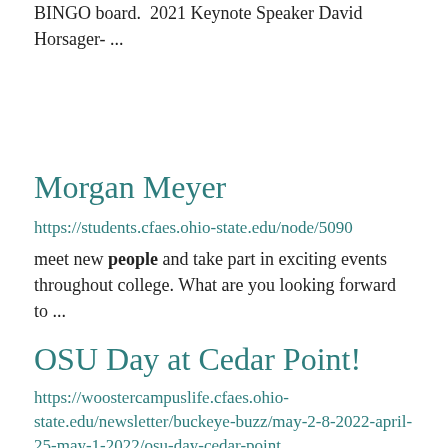BINGO board.  2021 Keynote Speaker David Horsager- ...
Morgan Meyer
https://students.cfaes.ohio-state.edu/node/5090
meet new people and take part in exciting events throughout college. What are you looking forward to ...
OSU Day at Cedar Point!
https://woostercampuslife.cfaes.ohio-state.edu/newsletter/buckeye-buzz/may-2-8-2022-april-25-may-1-2022/osu-day-cedar-point
before it opens for the 2022 season! Tickets are only $30 for students and the